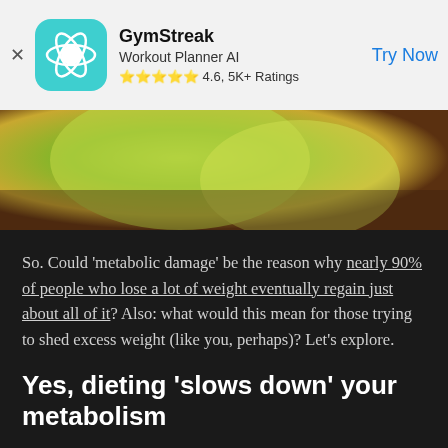[Figure (screenshot): GymStreak app advertisement banner with teal app icon showing atomic/orbital logo, app name 'GymStreak', subtitle 'Workout Planner AI', star rating '4.6, 5K+ Ratings', and 'Try Now' call-to-action button. Close X button on left.]
[Figure (photo): Partial photo showing a person in a bright green/yellow hoodie or workout clothing, dark background, cropped.]
So. Could ‘metabolic damage’ be the reason why nearly 90% of people who lose a lot of weight eventually regain just about all of it? Also: what would this mean for those trying to shed excess weight (like you, perhaps)? Let’s explore.
Yes, dieting ‘slows down’ your metabolism
First things first. Be aware that, yes, dieting does slow